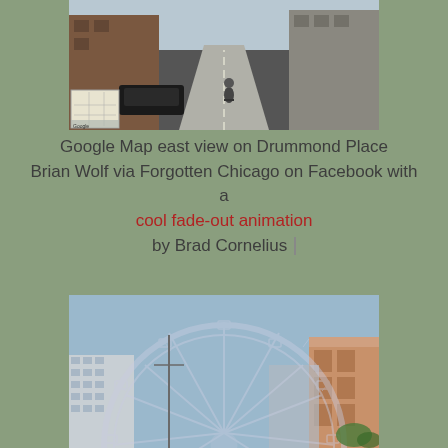[Figure (photo): Google Street View photo showing east view on Drummond Place, a narrow urban street with a cyclist in center, a dark car on the left, brick buildings on either side, and a small map inset in the lower left corner.]
Google Map east view on Drummond Place Brian Wolf via Forgotten Chicago on Facebook with a cool fade-out animation by Brad Cornelius
[Figure (photo): Photo of a large Ferris wheel (Chicago Navy Pier area) with a light blue sky background, urban buildings visible on left and right sides including a tall modern building on left and a brick building on right. The Ferris wheel appears semi-transparent as part of a fade-out animation.]